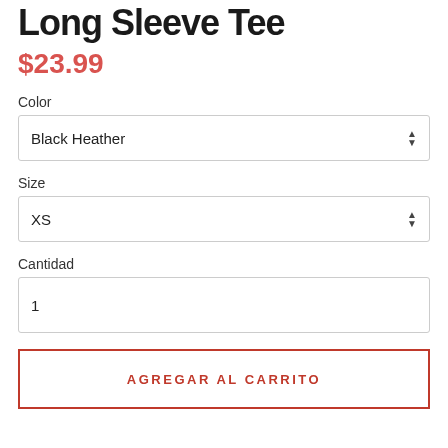Long Sleeve Tee
$23.99
Color
Black Heather
Size
XS
Cantidad
1
AGREGAR AL CARRITO